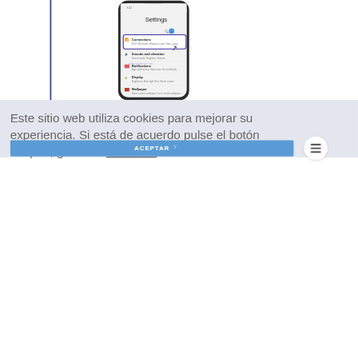[Figure (screenshot): A smartphone displaying the Android Settings screen with sections: Connections (highlighted with purple border and arrow), Sounds and vibration, Notifications, Display, Wallpaper. A blue vertical line appears on the left edge.]
Este sitio web utiliza cookies para mejorar su experiencia. Si está de acuerdo pulse el botón aceptar, gracias. Leer más
ACEPTAR